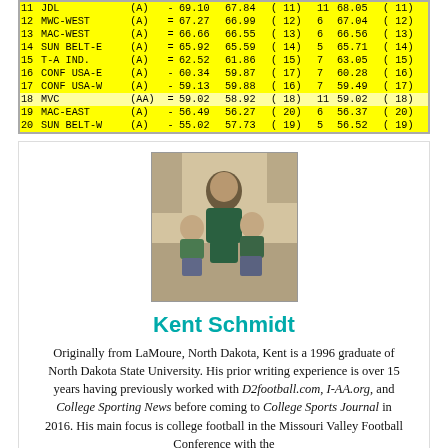| Rank | Conference | Div |  | Rating1 | Rating2 | (Rank2) | Count | Rating3 | (Rank3) |
| --- | --- | --- | --- | --- | --- | --- | --- | --- | --- |
| 11 | JDL | (A) | - | 69.10 | 67.84 | (11) | 11 | 68.05 | (11) |
| 12 | MWC-WEST | (A) | = | 67.27 | 66.99 | (12) | 6 | 67.04 | (12) |
| 13 | MAC-WEST | (A) | = | 66.66 | 66.55 | (13) | 6 | 66.56 | (13) |
| 14 | SUN BELT-E | (A) | = | 65.92 | 65.59 | (14) | 5 | 65.71 | (14) |
| 15 | T-A IND. | (A) | = | 62.52 | 61.86 | (15) | 7 | 63.05 | (15) |
| 16 | CONF USA-E | (A) | - | 60.34 | 59.87 | (17) | 7 | 60.28 | (16) |
| 17 | CONF USA-W | (A) | - | 59.13 | 59.88 | (16) | 7 | 59.49 | (17) |
| 18 | MVC | (AA) | = | 59.02 | 58.92 | (18) | 11 | 59.02 | (18) |
| 19 | MAC-EAST | (A) | - | 56.49 | 56.27 | (20) | 6 | 56.37 | (20) |
| 20 | SUN BELT-W | (A) | - | 55.02 | 57.73 | (19) | 5 | 56.52 | (19) |
[Figure (photo): Photo of Kent Schmidt with two young children, sitting on floor]
Kent Schmidt
Originally from LaMoure, North Dakota, Kent is a 1996 graduate of North Dakota State University. His prior writing experience is over 15 years having previously worked with D2football.com, I-AA.org, and College Sporting News before coming to College Sports Journal in 2016. His main focus is college football in the Missouri Valley Football Conference with the...